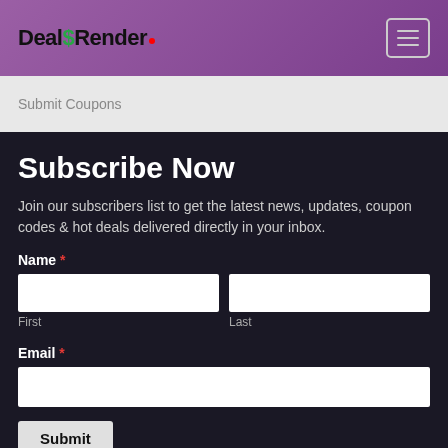DealSRender
Submit Coupons
Subscribe Now
Join our subscribers list to get the latest news, updates, coupon codes & hot deals delivered directly in your inbox.
Name *
First
Last
Email *
Submit